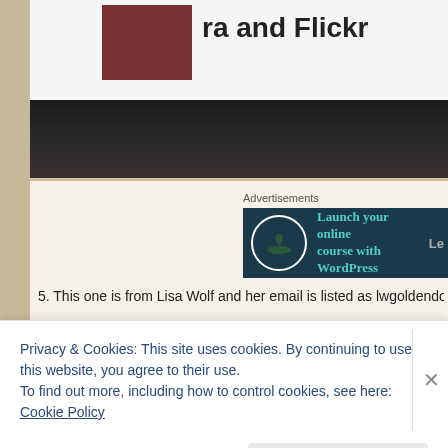[Figure (photo): Partial screenshot of a webpage showing a photo with a white card/sign at top with a small dark thumbnail image and partial bold text reading 'ra and Flickr', with dark blurry lower portion]
Advertisements
[Figure (screenshot): Advertisement banner with dark teal background, circular icon with bonsai tree, and teal bold text reading 'Launch your online course with WordPress']
5. This one is from Lisa Wolf and her email is listed as lwgoldendog@gmail.c
Privacy & Cookies: This site uses cookies. By continuing to use this website, you agree to their use.
To find out more, including how to control cookies, see here: Cookie Policy
Close and accept